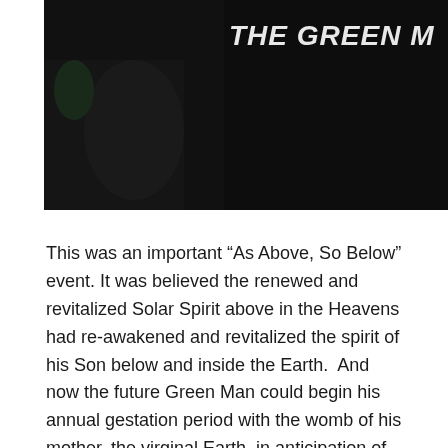[Figure (photo): Dark background photo with partial view of a person and partial text reading 'THE GREEN M' in bold italic white letters on the right side]
This was an important “As Above, So Below” event. It was believed the renewed and revitalized Solar Spirit above in the Heavens had re-awakened and revitalized the spirit of his Son below and inside the Earth.  And now the future Green Man could begin his annual gestation period with the womb of his mother, the virginal Earth, in anticipation of receiving a new, resurrected body in the spring.